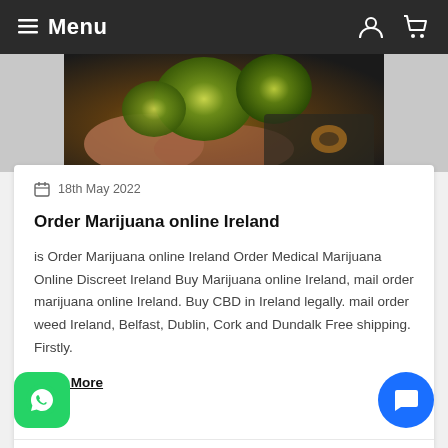Menu
[Figure (photo): Close-up photo of marijuana/cannabis buds held in a hand, dark background]
18th May 2022
Order Marijuana online Ireland
is Order Marijuana online Ireland Order Medical Marijuana Online Discreet Ireland Buy Marijuana online Ireland, mail order marijuana online Ireland. Buy CBD in Ireland legally. mail order weed Ireland, Belfast, Dublin, Cork and Dundalk Free shipping. Firstly.
Read More